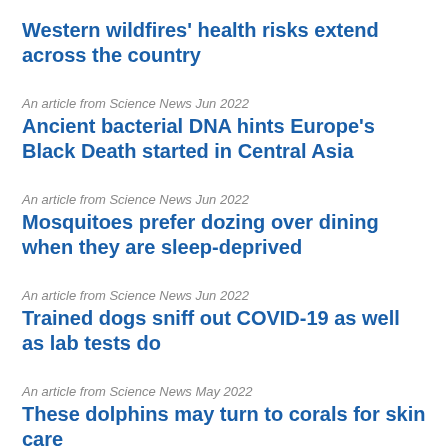Western wildfires' health risks extend across the country
An article from Science News Jun 2022
Ancient bacterial DNA hints Europe's Black Death started in Central Asia
An article from Science News Jun 2022
Mosquitoes prefer dozing over dining when they are sleep-deprived
An article from Science News Jun 2022
Trained dogs sniff out COVID-19 as well as lab tests do
An article from Science News May 2022
These dolphins may turn to corals for skin care